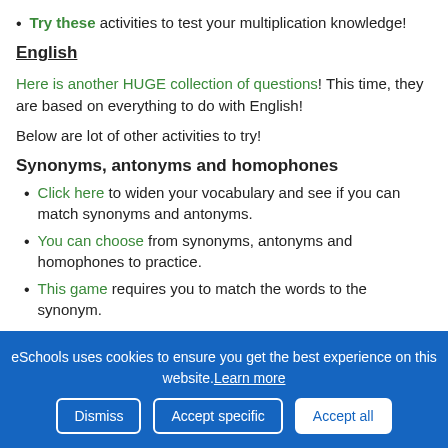Try these activities to test your multiplication knowledge!
English
Here is another HUGE collection of questions! This time, they are based on everything to do with English!
Below are lot of other activities to try!
Synonyms, antonyms and homophones
Click here to widen your vocabulary and see if you can match synonyms and antonyms.
You can choose from synonyms, antonyms and homophones to practice.
This game requires you to match the words to the synonym.
eSchools uses cookies to ensure you get the best experience on this website. Learn more
Dismiss | Accept specific | Accept all